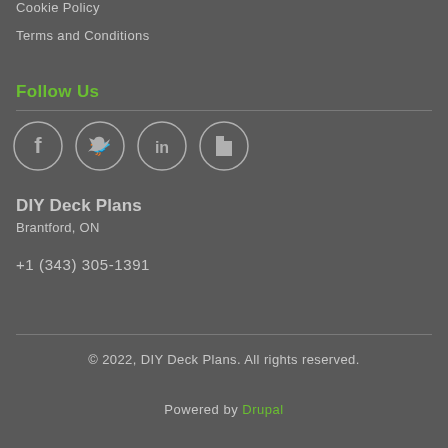Cookie Policy
Terms and Conditions
Follow Us
[Figure (illustration): Four circular social media icons: Facebook, Twitter, LinkedIn, Houzz]
DIY Deck Plans
Brantford, ON
+1 (343) 305-1391
© 2022, DIY Deck Plans. All rights reserved.
Powered by Drupal